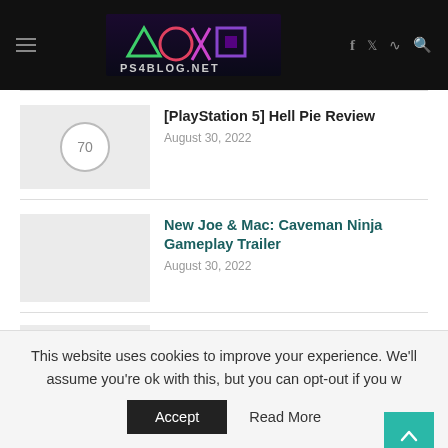PS4Blog.net - Site header with navigation icons (hamburger menu, logo, social icons: facebook, twitter, rss, search)
[Figure (screenshot): Thumbnail placeholder with score circle showing '70' for Hell Pie Review]
[PlayStation 5] Hell Pie Review
August 30, 2022
[Figure (screenshot): Thumbnail placeholder for New Joe & Mac: Caveman Ninja Gameplay Trailer]
New Joe & Mac: Caveman Ninja Gameplay Trailer
August 30, 2022
[Figure (screenshot): Thumbnail placeholder for Steelrising Out Next Week]
Steelrising Out Next Week
This website uses cookies to improve your experience. We'll assume you're ok with this, but you can opt-out if you w
Accept   Read More